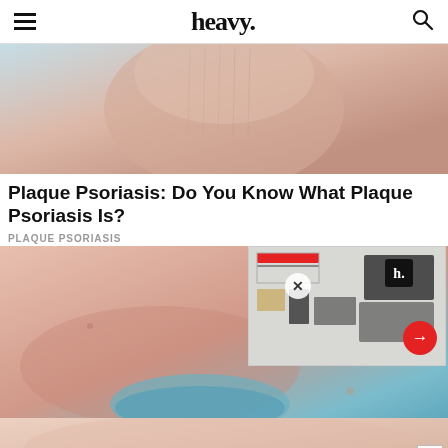heavy.
[Figure (photo): Close-up photo of a fingertip/nail showing dry, cracked skin on a light blue background]
Plaque Psoriasis: Do You Know What Plaque Psoriasis Is?
PLAQUE PSORIASIS
[Figure (photo): Medical close-up photo of skin condition with a blue gloved finger touching affected skin area; advertisement overlay visible in corner showing gaming/sports equipment with heavy.com logo badge, red arrow button, and X close button]
[Figure (photo): Partial view of another close-up skin/medical photo at bottom of page]